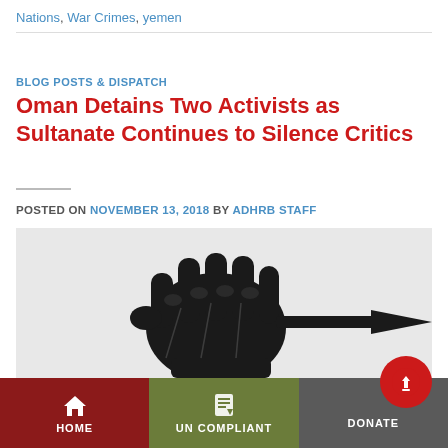Nations, War Crimes, yemen
BLOG POSTS & DISPATCH
Oman Detains Two Activists as Sultanate Continues to Silence Critics
POSTED ON NOVEMBER 13, 2018 BY ADHRB STAFF
[Figure (illustration): Black and white illustration of raised fists holding a pen, symbolizing activism and free speech. Date badge showing '13 Nov' in red on top left of image.]
HOME | UN COMPLIANT | DONATE